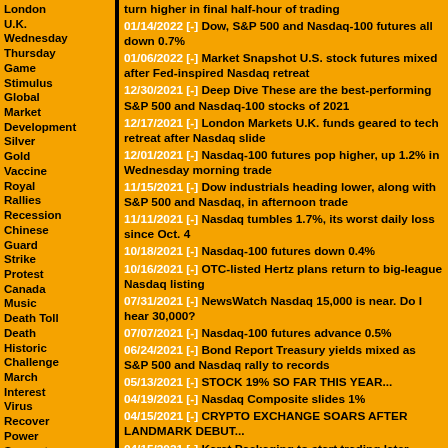London U.K. Wednesday Thursday Game Stimulus Global Market Development Silver Gold Vaccine Royal Rallies Recession Chinese Guard Strike Protest Canada Music Death Toll Death Historic Challenge March Interest Virus Recover Power Support Fuel Freedom Freed CEO Voting Financial Dollar Aussie Target Blast
01/14/2022 [-] Dow, S&P 500 and Nasdaq-100 futures all down 0.7%
01/06/2022 [-] Market Snapshot U.S. stock futures mixed after Fed-inspired Nasdaq retreat
12/30/2021 [-] Deep Dive These are the best-performing S&P 500 and Nasdaq-100 stocks of 2021
12/17/2021 [-] London Markets U.K. funds geared to tech retreat after Nasdaq slide
12/01/2021 [-] Nasdaq-100 futures pop higher, up 1.2% in Wednesday morning trade
11/15/2021 [-] Dow industrials heading lower, along with S&P 500 and Nasdaq, in afternoon trade
11/11/2021 [-] Nasdaq tumbles 1.7%, its worst daily loss since Oct. 4
10/18/2021 [-] Nasdaq-100 futures down 0.4%
10/16/2021 [-] OTC-listed Hertz plans return to big-league Nasdaq listing
07/31/2021 [-] NewsWatch Nasdaq 15,000 is near. Do I hear 30,000?
07/07/2021 [-] Nasdaq-100 futures advance 0.5%
06/24/2021 [-] Bond Report Treasury yields mixed as S&P 500 and Nasdaq rally to records
05/13/2021 [-] STOCK 19% SO FAR THIS YEAR...
04/19/2021 [-] Nasdaq Composite slides 1%
04/15/2021 [-] CRYPTO EXCHANGE SOARS AFTER LANDMARK DEBUT...
04/15/2021 [-] Karat Packaging to start trading later Thursday on Nasdaq under ticker 'KRT'